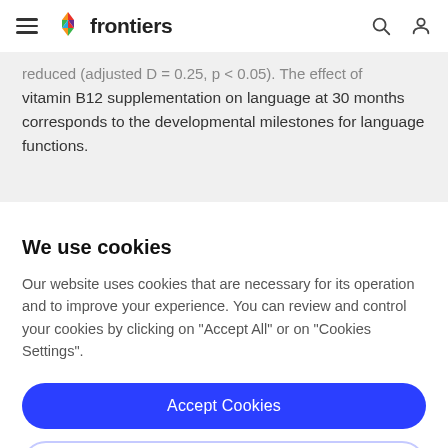frontiers
reduced (adjusted D = 0.25, p < 0.05). The effect of vitamin B12 supplementation on language at 30 months corresponds to the developmental milestones for language functions.
We use cookies
Our website uses cookies that are necessary for its operation and to improve your experience. You can review and control your cookies by clicking on "Accept All" or on "Cookies Settings".
Accept Cookies
Cookies Settings